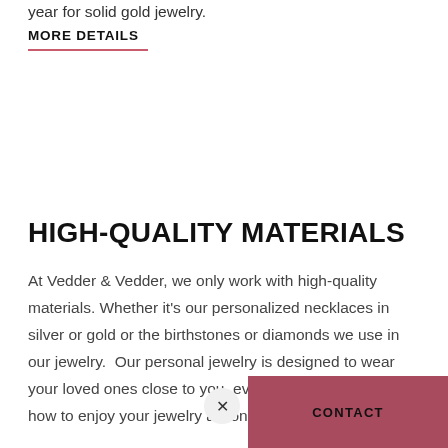year for solid gold jewelry.
MORE DETAILS
HIGH-QUALITY MATERIALS
At Vedder & Vedder, we only work with high-quality materials. Whether it's our personalized necklaces in silver or gold or the birthstones or diamonds we use in our jewelry.  Our personal jewelry is designed to wear your loved ones close to you, every day. Som  to how to enjoy your jewelry as long as possible you'll find